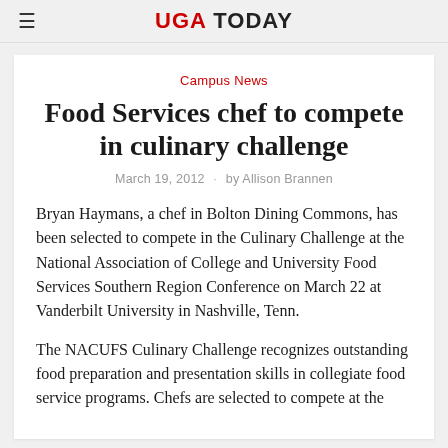UGA TODAY
Campus News
Food Services chef to compete in culinary challenge
March 19, 2012 · by Allison Brannen
Bryan Haymans, a chef in Bolton Dining Commons, has been selected to compete in the Culinary Challenge at the National Association of College and University Food Services Southern Region Conference on March 22 at Vanderbilt University in Nashville, Tenn.
The NACUFS Culinary Challenge recognizes outstanding food preparation and presentation skills in collegiate food service programs. Chefs are selected to compete at the